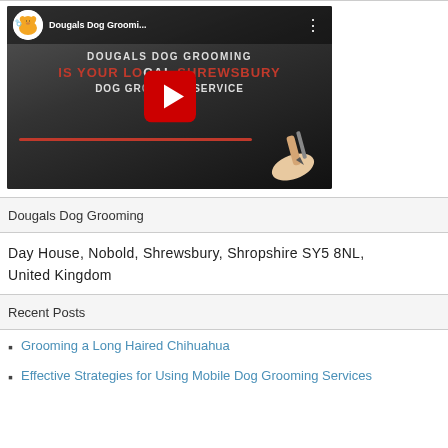[Figure (screenshot): YouTube video thumbnail for Dougals Dog Grooming with play button overlay and text 'IS YOUR LOCAL SHREWSBURY DOG GROOMING SERVICE']
Dougals Dog Grooming
Day House, Nobold, Shrewsbury, Shropshire SY5 8NL, United Kingdom
Recent Posts
Grooming a Long Haired Chihuahua
Effective Strategies for Using Mobile Dog Grooming Services